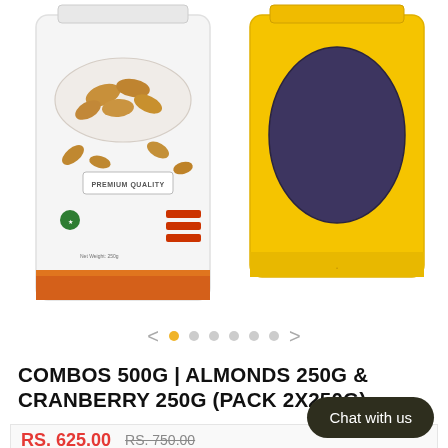[Figure (photo): Two product packages side by side: left is a white premium almond bag with almonds shown and 'PREMIUM QUALITY' label, right is a yellow bag with dark oval label on front.]
[Figure (other): Image carousel navigation: left arrow, 1 active yellow dot and 5 inactive grey dots, right arrow.]
COMBOS 500G | ALMONDS 250G & CRANBERRY 250G (PACK 2X250G)
RS. 625.00  RS. 750.00
Chat with us